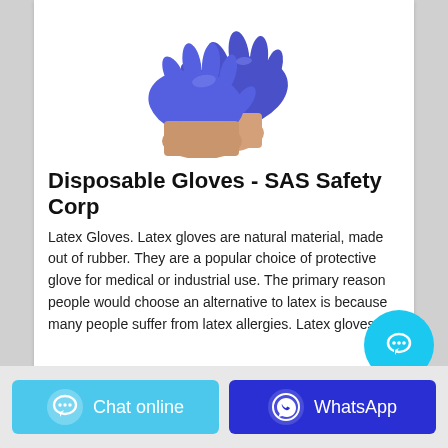[Figure (photo): Blue disposable latex/nitrile gloves on a person's hands against white background]
Disposable Gloves - SAS Safety Corp
Latex Gloves. Latex gloves are natural material, made out of rubber. They are a popular choice of protective glove for medical or industrial use. The primary reason people would choose an alternative to latex is because many people suffer from latex allergies. Latex gloves …
[Figure (illustration): Cyan circular chat bubble button in bottom right corner]
Chat online
WhatsApp